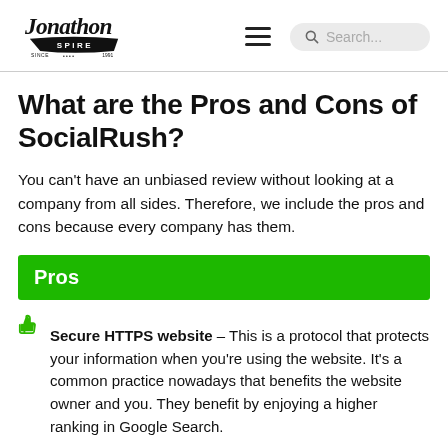Jonathon Spire — navigation header with logo, hamburger menu, and search box
What are the Pros and Cons of SocialRush?
You can't have an unbiased review without looking at a company from all sides. Therefore, we include the pros and cons because every company has them.
Pros
Secure HTTPS website – This is a protocol that protects your information when you're using the website. It's a common practice nowadays that benefits the website owner and you. They benefit by enjoying a higher ranking in Google Search.